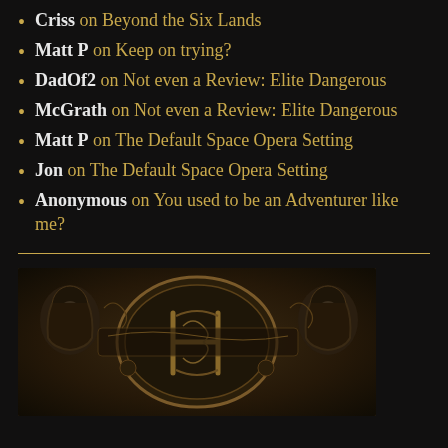Criss on Beyond the Six Lands
Matt P on Keep on trying?
DadOf2 on Not even a Review: Elite Dangerous
McGrath on Not even a Review: Elite Dangerous
Matt P on The Default Space Opera Setting
Jon on The Default Space Opera Setting
Anonymous on You used to be an Adventurer like me?
[Figure (illustration): Ornate illustrated artwork featuring a decorative letter or emblem with intricate carvings, two hooded face figures on either side, rendered in dark bronze/gold tones]